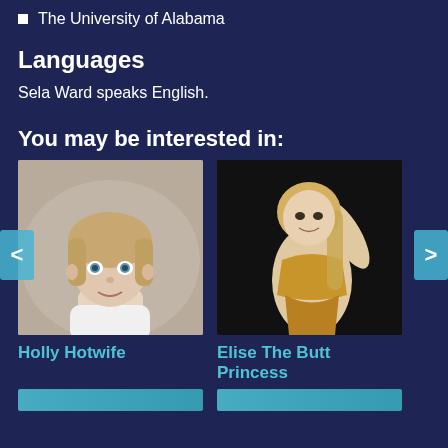The University of Alabama
Languages
Sela Ward speaks English.
You may be interested in:
[Figure (photo): Photo of Holly Hotwife - a blonde woman lying down looking at camera, wearing white top]
[Figure (photo): Photo of Elise The Butt Princess - a blonde woman posing in a golden outfit against a dark background]
Holly Hotwife
Elise The Butt Princess